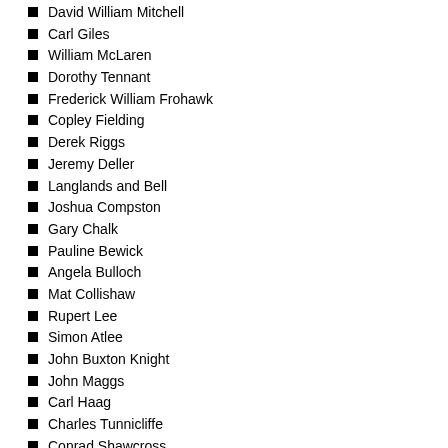David William Mitchell
Carl Giles
William McLaren
Dorothy Tennant
Frederick William Frohawk
Copley Fielding
Derek Riggs
Jeremy Deller
Langlands and Bell
Joshua Compston
Gary Chalk
Pauline Bewick
Angela Bulloch
Mat Collishaw
Rupert Lee
Simon Atlee
John Buxton Knight
John Maggs
Carl Haag
Charles Tunnicliffe
Conrad Shawcross
Henry William Banks Davis
Phil Mulley